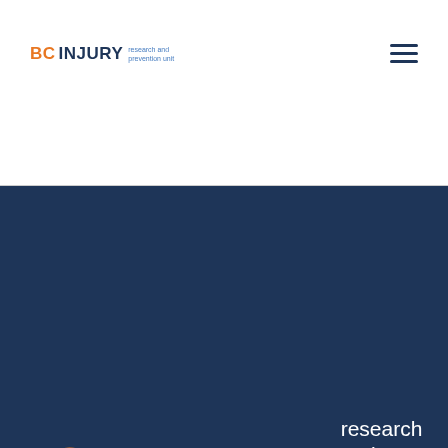[Figure (logo): BC Injury Research and Prevention Unit small logo in top-left navigation bar]
[Figure (logo): Hamburger menu icon (three horizontal lines) in top-right navigation bar]
[Figure (logo): BC Injury Research and Prevention Unit large logo on dark blue background]
The BC Injury Research and Prevention Unit is a leader in the production and transfer of injury prevention knowledge and the integration of evidence-based injury prevention practices in the d lives of those at risk, those who care for them, and